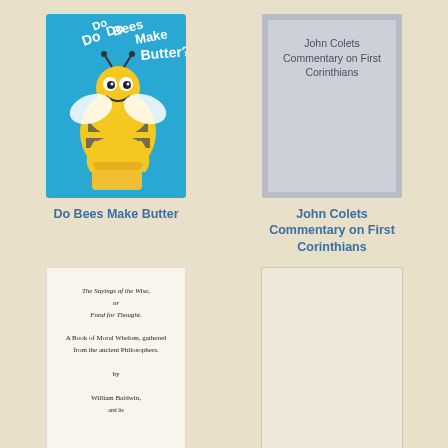[Figure (illustration): Book cover of 'Do Bees Make Butter?' with a cartoon bee holding butter on a blue background]
[Figure (illustration): Gray placeholder book cover with text 'John Colets Commentary on First Corinthians']
Do Bees Make Butter
John Colets Commentary on First Corinthians
[Figure (illustration): Book cover of 'The Sayings of the Wise, or Food for Thought. A Book of Moral Wisdom, gathered from the ancient Philosophers. by William Baldwin.']
[Figure (illustration): Blank/empty book cover placeholder with beige background]